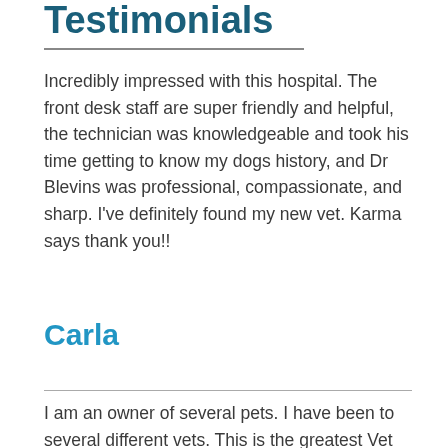Testimonials
Incredibly impressed with this hospital. The front desk staff are super friendly and helpful, the technician was knowledgeable and took his time getting to know my dogs history, and Dr Blevins was professional, compassionate, and sharp. I've definitely found my new vet. Karma says thank you!!
Carla
I am an owner of several pets. I have been to several different vets. This is the greatest Vet we have ever been to. Since our first visit to our most recent visit we've always been taken care of.